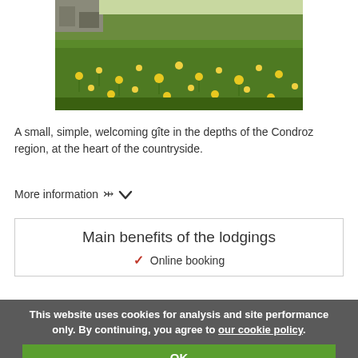[Figure (photo): Photograph of a wildflower meadow with yellow dandelions and green grass, with a building partially visible in the background]
A small, simple, welcoming gîte in the depths of the Condroz region, at the heart of the countryside.
More information ∨
Main benefits of the lodgings
✔ Online booking
This website uses cookies for analysis and site performance only. By continuing, you agree to our cookie policy.
OK